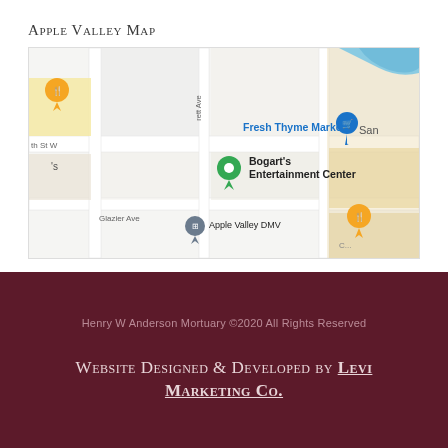Apple Valley Map
[Figure (map): Google Maps screenshot showing Apple Valley area with markers for Fresh Thyme Market, Bogart's Entertainment Center, Apple Valley DMV, and other nearby locations including street labels like Glazier Ave and partial street names.]
Henry W Anderson Mortuary ©2020 All Rights Reserved
Website Designed & Developed by Levi Marketing Co.